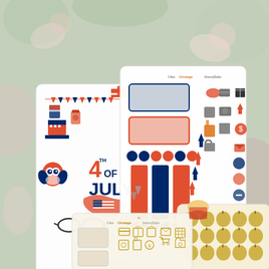[Figure (photo): A photograph showing multiple decorative sticker sheets from 'One Orange Snowflake'. The sticker sheets feature patriotic 4th of July themed illustrations including owls, American flags, Uncle Sam hats, the text '4th of JULY', bunting banners, and fireworks in red, white, blue and orange colors. Additional sticker sheets show planner functional stickers with icons for various activities, and a sheet of gold apple stickers. The sheets are arranged overlapping each other on a floral fabric background.]